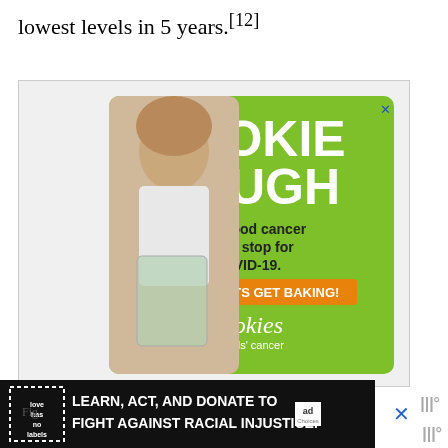lowest levels in 5 years.[12]
[Figure (photo): Advertisement for Cookies for Kids' Cancer: green background with smiling girl holding a jar of money, text reads COOKIE DOUGH, Childhood cancer didn't stop for COVID-19. LETS GET BAKING!, cookies for kids' cancer]
[Figure (photo): Banner advertisement: LEARN, ACT, AND DONATE TO FIGHT AGAINST RACIAL INJUSTICE. with logo and ad badge]
Fig